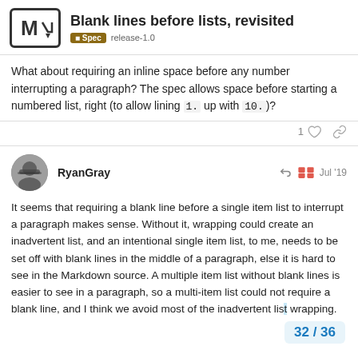Blank lines before lists, revisited — Spec release-1.0
What about requiring an inline space before any number interrupting a paragraph? The spec allows space before starting a numbered list, right (to allow lining 1. up with 10.)?
RyanGray Jul '19
It seems that requiring a blank line before a single item list to interrupt a paragraph makes sense. Without it, wrapping could create an inadvertent list, and an intentional single item list, to me, needs to be set off with blank lines in the middle of a paragraph, else it is hard to see in the Markdown source. A multiple item list without blank lines is easier to see in a paragraph, so a multi-item list could not require a blank line, and I think we avoid most of the inadvertent list wrapping.
32 / 36